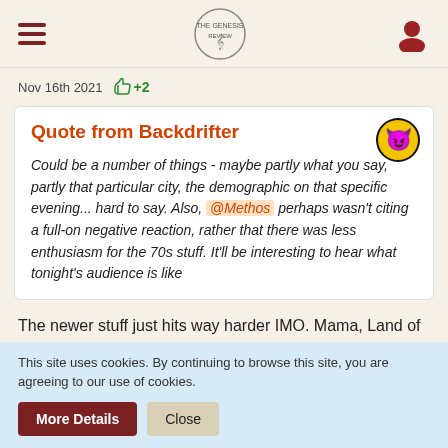[hamburger menu] [site logo] [user icon]
Nov 16th 2021  +2
Quote from Backdrifter

Could be a number of things - maybe partly what you say, partly that particular city, the demographic on that specific evening... hard to say. Also, @Methos perhaps wasn't citing a full-on negative reaction, rather that there was less enthusiasm for the 70s stuff. It'll be interesting to hear what tonight's audience is like
The newer stuff just hits way harder IMO. Mama, Land of Confusion, Domino...all bangers with excellent production. Lamb and Moonlit
This site uses cookies. By continuing to browse this site, you are agreeing to our use of cookies.